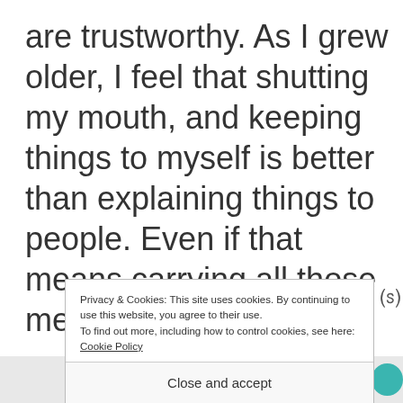are trustworthy. As I grew older, I feel that shutting my mouth, and keeping things to myself is better than explaining things to people. Even if that means carrying all those mental and emotional b
Privacy & Cookies: This site uses cookies. By continuing to use this website, you agree to their use.
To find out more, including how to control cookies, see here: Cookie Policy
Close and accept
[Figure (screenshot): Bottom advertisement bar with purple and teal elements, text 'subscriptions online']